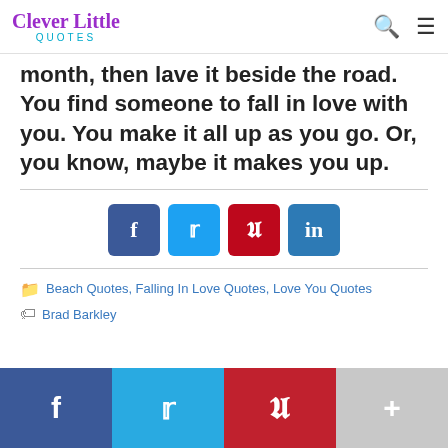Clever Little QUOTES
month, then lave it beside the road. You find someone to fall in love with you. You make it all up as you go. Or, you know, maybe it makes you up.
[Figure (other): Social share buttons: Facebook (blue), Twitter (light blue), Pinterest (red), LinkedIn (blue)]
Beach Quotes, Falling In Love Quotes, Love You Quotes
Brad Barkley
[Figure (other): Bottom share bar with Facebook, Twitter, Pinterest, and More (+) buttons]